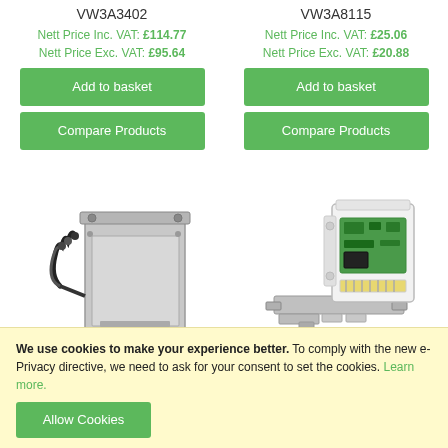VW3A3402
Nett Price Inc. VAT: £114.77
Nett Price Exc. VAT: £95.64
Add to basket
Compare Products
VW3A8115
Nett Price Inc. VAT: £25.06
Nett Price Exc. VAT: £20.88
Add to basket
Compare Products
[Figure (photo): Industrial electrical component - VW3A3402, metal enclosure with cables]
[Figure (photo): Industrial electrical component - VW3A8115, white module assembly with mounting bracket]
We use cookies to make your experience better. To comply with the new e-Privacy directive, we need to ask for your consent to set the cookies. Learn more.
Allow Cookies